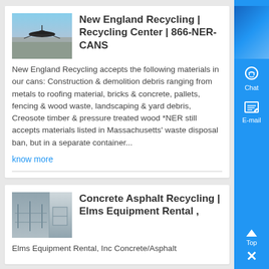[Figure (screenshot): Thumbnail image of New England Recycling showing aerial or industrial view]
New England Recycling | Recycling Center | 866-NER-CANS
New England Recycling accepts the following materials in our cans: Construction & demolition debris ranging from metals to roofing material, bricks & concrete, pallets, fencing & wood waste, landscaping & yard debris, Creosote timber & pressure treated wood *NER still accepts materials listed in Massachusetts' waste disposal ban, but in a separate container...
know more
[Figure (screenshot): Thumbnail image of Concrete Asphalt Recycling / Elms Equipment Rental]
Concrete Asphalt Recycling | Elms Equipment Rental ,
Elms Equipment Rental, Inc Concrete/Asphalt